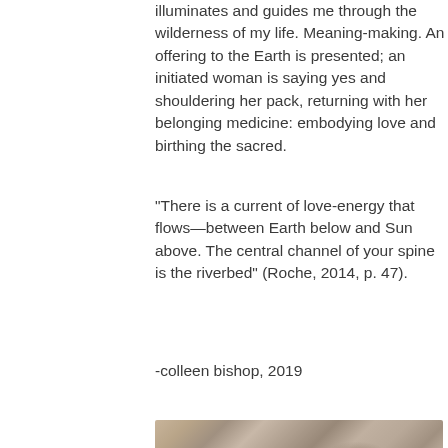illuminates and guides me through the wilderness of my life. Meaning-making. An offering to the Earth is presented; an initiated woman is saying yes and shouldering her pack, returning with her belonging medicine: embodying love and birthing the sacred.
“There is a current of love-energy that flows—between Earth below and Sun above. The central channel of your spine is the riverbed” (Roche, 2014, p. 47).
-colleen bishop, 2019
[Figure (photo): A close-up photograph of what appears to be a natural texture, possibly a sand or rock surface with organic patterns, in muted beige and brown tones.]